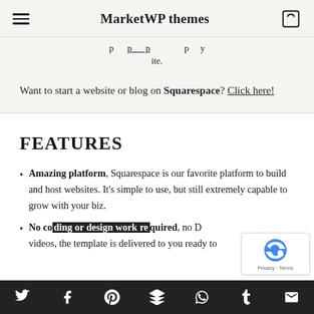MarketWP themes
ite.
Want to start a website or blog on Squarespace? Click here!
FEATURES
Amazing platform, Squarespace is our favorite platform to build and host websites. It's simple to use, but still extremely capable to grow with your biz.
No coding or design work required, no D… videos, the template is delivered to you ready to…